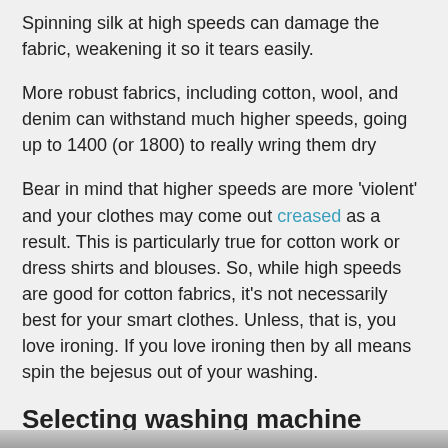Spinning silk at high speeds can damage the fabric, weakening it so it tears easily.
More robust fabrics, including cotton, wool, and denim can withstand much higher speeds, going up to 1400 (or 1800) to really wring them dry
Bear in mind that higher speeds are more ‘violent’ and your clothes may come out creased as a result. This is particularly true for cotton work or dress shirts and blouses. So, while high speeds are good for cotton fabrics, it’s not necessarily best for your smart clothes. Unless, that is, you love ironing. If you love ironing then by all means spin the bejesus out of your washing.
Selecting washing machine spin speed